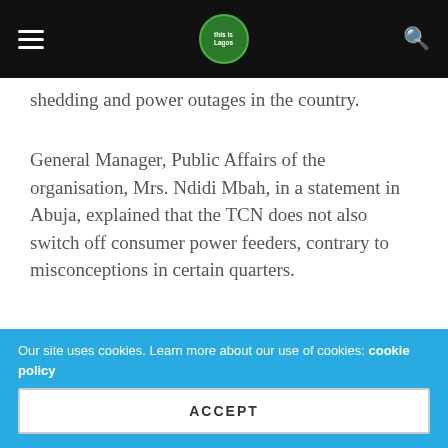Navigation bar with hamburger menu, logo, and search icon
shedding and power outages in the country.
General Manager, Public Affairs of the organisation, Mrs. Ndidi Mbah, in a statement in Abuja, explained that the TCN does not also switch off consumer power feeders, contrary to misconceptions in certain quarters.
She maintained that off-taking 12MW through an 11kV distribution feeder for onward delivery to customers, remains the responsibility of power distributors like the Abuja Electricity Distribution Company (AEDC) and not the TCN.
“For the purpose of clarification, TCN does not distribute
Our site uses cookies. Learn more about our use of cookies: cookie policy
ACCEPT